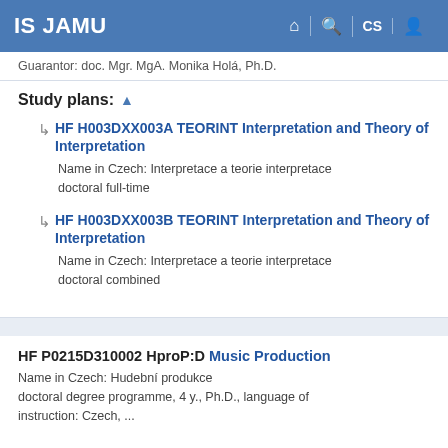IS JAMU
Guarantor: doc. Mgr. MgA. Monika Holá, Ph.D.
Study plans: ▲
HF H003DXX003A TEORINT Interpretation and Theory of Interpretation
Name in Czech: Interpretace a teorie interpretace
doctoral full-time
HF H003DXX003B TEORINT Interpretation and Theory of Interpretation
Name in Czech: Interpretace a teorie interpretace
doctoral combined
HF P0215D310002 HproP:D Music Production
Name in Czech: Hudební produkce
doctoral degree programme, 4 y., Ph.D., language of instruction: Czech, ...